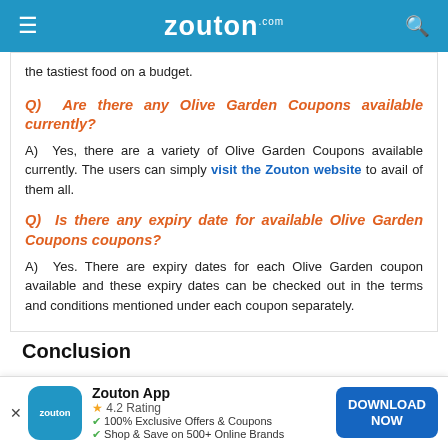zouton.com
the tastiest food on a budget.
Q)  Are there any Olive Garden Coupons available currently?
A)  Yes, there are a variety of Olive Garden Coupons available currently. The users can simply visit the Zouton website to avail of them all.
Q)  Is there any expiry date for available Olive Garden Coupons coupons?
A)  Yes. There are expiry dates for each Olive Garden coupon available and these expiry dates can be checked out in the terms and conditions mentioned under each coupon separately.
Conclusion